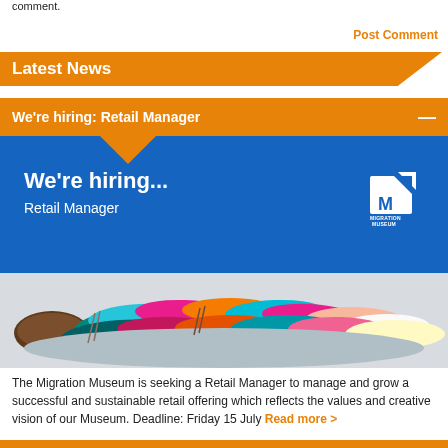comment.
Post Comment
Latest News
We're hiring: Retail Manager
[Figure (photo): Blue promotional banner for Migration Museum showing 'We're hiring... Retail Manager' text with white Migration Museum logo on right, and colourful stacked fabric/textile items in the lower portion of the image.]
The Migration Museum is seeking a Retail Manager to manage and grow a successful and sustainable retail offering which reflects the values and creative vision of our Museum. Deadline: Friday 15 July Read more >